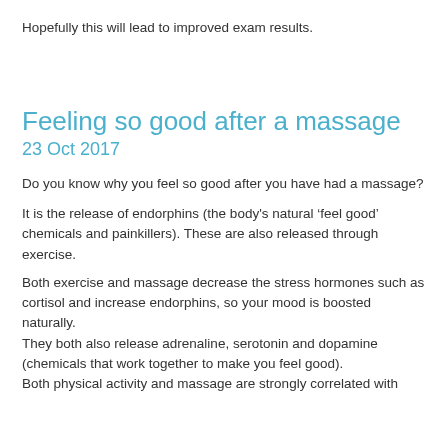Hopefully this will lead to improved exam results.
Feeling so good after a massage
23 Oct 2017
Do you know why you feel so good after you have had a massage?
It is the release of endorphins (the body's natural ‘feel good’ chemicals and painkillers). These are also released through exercise.
Both exercise and massage decrease the stress hormones such as cortisol and increase endorphins, so your mood is boosted naturally.
They both also release adrenaline, serotonin and dopamine (chemicals that work together to make you feel good).
Both physical activity and massage are strongly correlated with